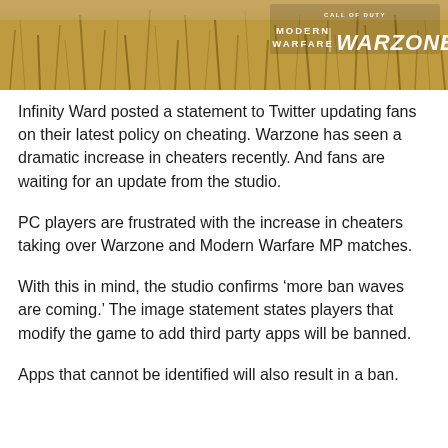[Figure (photo): Header image showing golden dry grass/wheat field background with Call of Duty: Modern Warfare | Warzone logo in the top right corner]
Infinity Ward posted a statement to Twitter updating fans on their latest policy on cheating. Warzone has seen a dramatic increase in cheaters recently. And fans are waiting for an update from the studio.
PC players are frustrated with the increase in cheaters taking over Warzone and Modern Warfare MP matches.
With this in mind, the studio confirms ‘more ban waves are coming.’ The image statement states players that modify the game to add third party apps will be banned.
Apps that cannot be identified will also result in a ban.